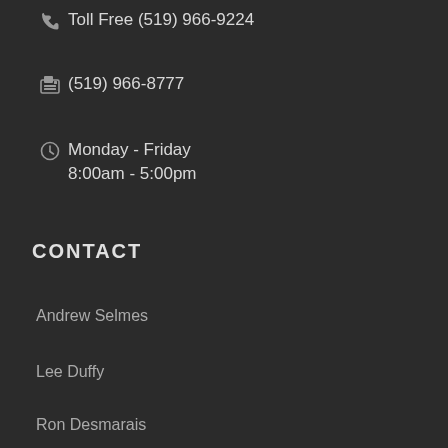Toll Free (519) 966-9224
(519) 966-8777
Monday - Friday
8:00am - 5:00pm
CONTACT
Andrew Selmes
Lee Duffy
Ron Desmarais